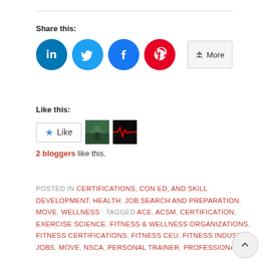Share this:
[Figure (infographic): Social share buttons: LinkedIn (blue circle), Twitter (light blue circle), Facebook (blue circle), Pinterest (red circle), and a More button with share icon]
Like this:
[Figure (infographic): WordPress Like widget showing a Like button with star icon, two blogger avatar thumbnails, and text '2 bloggers like this.']
2 bloggers like this.
POSTED IN CERTIFICATIONS, CON ED, AND SKILL DEVELOPMENT, HEALTH, JOB SEARCH AND PREPARATION, MOVE, WELLNESS · TAGGED ACE, ACSM, CERTIFICATION, EXERCISE SCIENCE, FITNESS & WELLNESS ORGANIZATIONS, FITNESS CERTIFICATIONS, FITNESS CEU, FITNESS INDUSTRY, JOBS, MOVE, NSCA, PERSONAL TRAINER, PROFESSIONAL